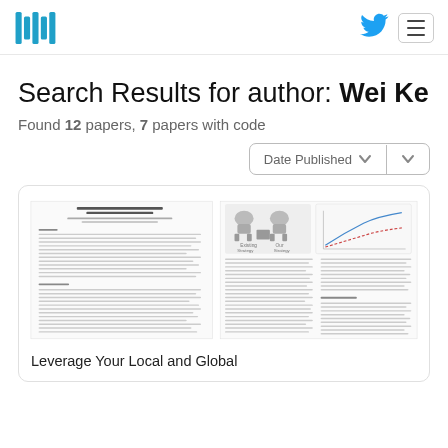Hugging Face logo, Twitter icon, Menu button
Search Results for author: Wei Ke
Found 12 papers, 7 papers with code
Date Published (sort dropdown)
[Figure (screenshot): Thumbnail preview of a research paper titled 'Leverage Your Local and Global' — shows two pages of the paper with figures of an object resembling a tank/robot and a graph]
Leverage Your Local and Global